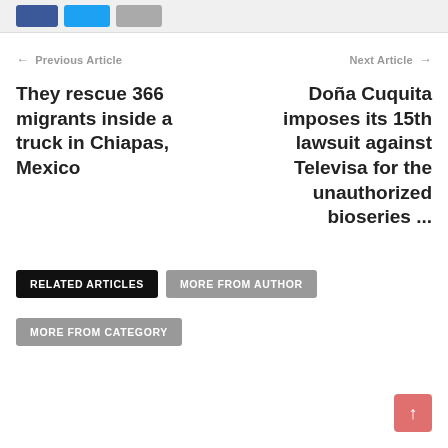Social share buttons bar
← Previous Article
Next Article →
They rescue 366 migrants inside a truck in Chiapas, Mexico
Doña Cuquita imposes its 15th lawsuit against Televisa for the unauthorized bioseries ...
RELATED ARTICLES
MORE FROM AUTHOR
MORE FROM CATEGORY